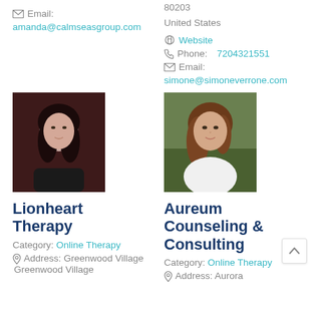Email: amanda@calmseasgroup.com
80203
United States
Website
Phone: 7204321551
Email: simone@simoneverrone.com
[Figure (photo): Profile photo of Asian woman with long dark hair against dark red background]
[Figure (photo): Profile photo of woman with brown hair wearing white jacket against outdoor background]
Lionheart Therapy
Aureum Counseling & Consulting
Category: Online Therapy
Category: Online Therapy
Address: Greenwood Village
Greenwood Village
Address: Aurora